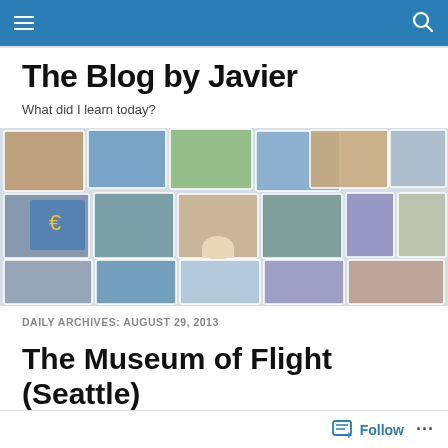Navigation bar with hamburger menu and search icon
The Blog by Javier
What did I learn today?
[Figure (photo): A collage of travel and personal photographs arranged in an overlapping grid pattern, featuring various landscapes, people, and landmarks.]
DAILY ARCHIVES: AUGUST 29, 2013
The Museum of Flight (Seattle)
Follow  ...